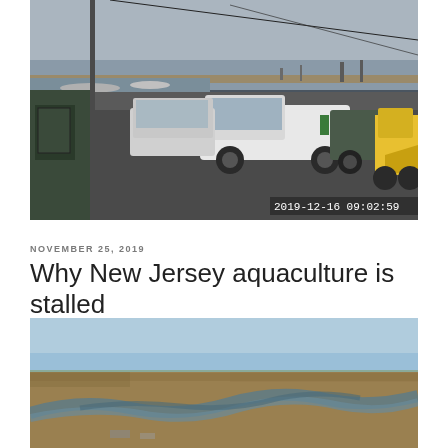[Figure (photo): Security camera footage showing a parking area with trucks, a white pickup truck, a van, construction workers and a yellow backhoe. Timestamp 2019-12-16 09:02:59 visible in lower right corner.]
NOVEMBER 25, 2019
Why New Jersey aquaculture is stalled
[Figure (photo): Aerial photograph of a marshy coastal landscape with tidal channels and flat brown terrain under a blue sky.]